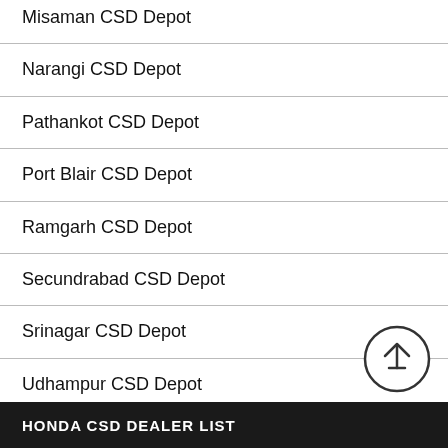Misaman CSD Depot
Narangi CSD Depot
Pathankot CSD Depot
Port Blair CSD Depot
Ramgarh CSD Depot
Secundrabad CSD Depot
Srinagar CSD Depot
Udhampur CSD Depot
Visakhapatnam CSD Depot
HONDA CSD DEALER LIST